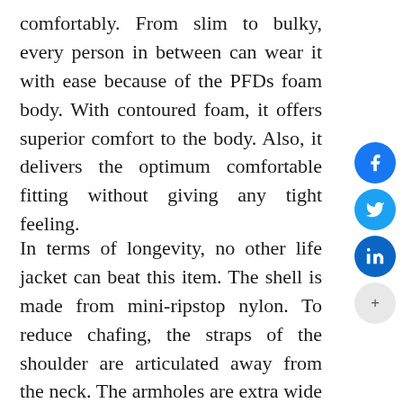comfortably. From slim to bulky, every person in between can wear it with ease because of the PFDs foam body. With contoured foam, it offers superior comfort to the body. Also, it delivers the optimum comfortable fitting without giving any tight feeling.
In terms of longevity, no other life jacket can beat this item. The shell is made from mini-ripstop nylon. To reduce chafing, the straps of the shoulder are articulated away from the neck. The armholes are extra wide so that the wearer can feel comfortable
[Figure (other): Social sharing buttons: Facebook (blue circle with f icon), Twitter (light blue circle with bird icon), LinkedIn (dark blue circle with 'in' text), and a gray circle with '+' for more options.]